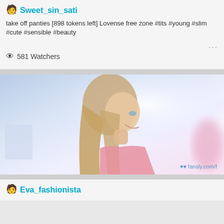Sweet_sin_sati
take off panties [898 tokens left] Lovense free zone #tits #young #slim #cute #sensible #beauty
...
👁 581 Watchers
[Figure (photo): Side profile photo of a smiling blonde woman in a pink top, with a light purple/white blurred background. Fansly.com watermark visible in bottom right.]
Eva_fashionista